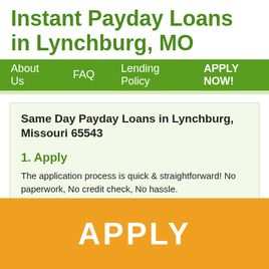Instant Payday Loans in Lynchburg, MO
About Us   FAQ   Lending Policy   APPLY NOW!
Same Day Payday Loans in Lynchburg, Missouri 65543
1. Apply
The application process is quick & straightforward! No paperwork, No credit check, No hassle.
2. Approved
You will get the approval online in 1 hour. Find out if you've been
[Figure (other): Orange APPLY button banner at bottom of page]